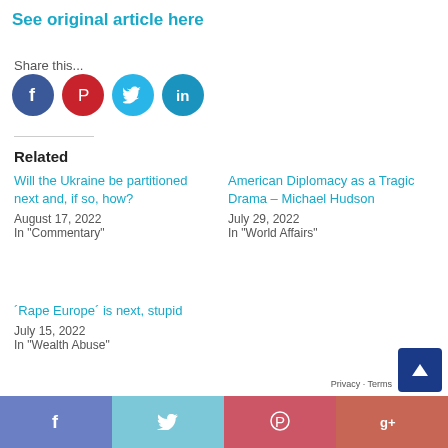See original article here
Share this...
[Figure (infographic): Four social media share icons: Facebook (blue circle), Pinterest (red circle), Twitter (cyan circle), LinkedIn (cyan circle)]
Related
Will the Ukraine be partitioned next and, if so, how?
August 17, 2022
In "Commentary"
American Diplomacy as a Tragic Drama – Michael Hudson
July 29, 2022
In "World Affairs"
´Rape Europe´ is next, stupid
July 15, 2022
In "Wealth Abuse"
[Figure (infographic): Bottom bar with four social share buttons: Facebook (purple-blue), Twitter (light blue), Pinterest (red), Google+ (salmon red), and a scroll-to-top button (dark blue with up arrow). Privacy · Terms label in bottom right.]